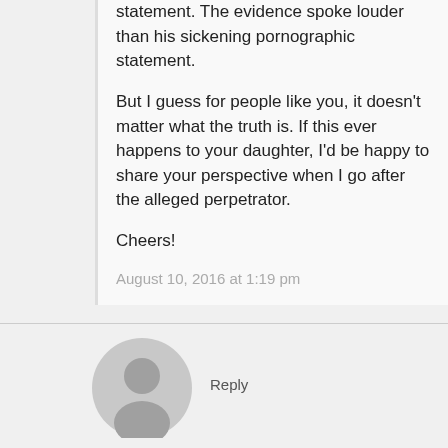statement. The evidence spoke louder than his sickening pornographic statement.

But I guess for people like you, it doesn't matter what the truth is. If this ever happens to your daughter, I'd be happy to share your perspective when I go after the alleged perpetrator.

Cheers!
August 10, 2016 at 1:19 pm
Reply
wagshairbeauty
Nice and impartial write up